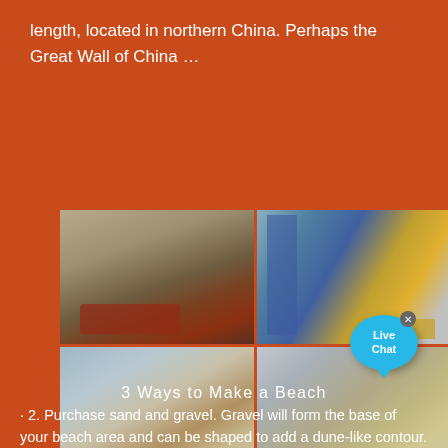length, located in northern China. Perhaps the Great Wall of China …
[Figure (photo): Four-photo grid showing mining/quarrying and industrial processing equipment: top-left shows open-pit quarry with red crushing machinery; top-right shows industrial plant with blue and yellow steel structure; bottom-left shows conveyor belt system at a sand/gravel processing site; bottom-right shows large gravel/sand piles with conveyor structures. A 'Live Chat' bubble overlaps the top-right photo.]
3 Ways to Make a Beach
· 2. Purchase sand and gravel. Gravel will form the base of your beach area and can be shaped to add a dune-like contour. The amount you"ll need will depend on the